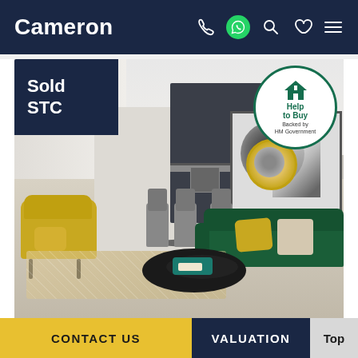Cameron
[Figure (photo): Interior photo of a modern flat showing open-plan living area with yellow armchair, green velvet sofa with yellow cushion, grey dining chairs around a round table, dark kitchen cabinets in background, abstract wall art, light wood floor, and a round gold mirror. Overlays: 'Sold STC' badge top-left, 'Help to Buy – Backed by HM Government' badge top-right.]
CONTACT US    VALUATION    Top